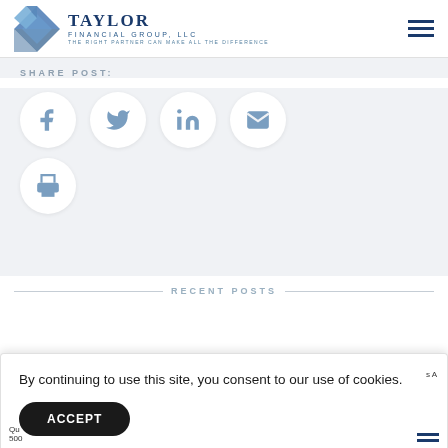[Figure (logo): Taylor Financial Group, LLC logo with geometric blue/white diamond shape icon and company name]
SHARE POST:
[Figure (infographic): Social share buttons: Facebook (f), Twitter (bird), LinkedIn (in), Email (envelope), Print (printer) — each in a white circle on gray background]
RECENT POSTS
By continuing to use this site, you consent to our use of cookies.
ACCEPT
Qu
500
s A